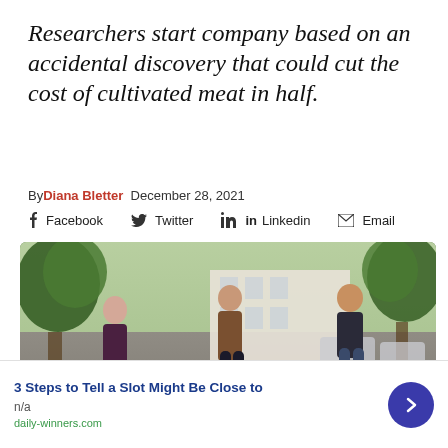Researchers start company based on an accidental discovery that could cut the cost of cultivated meat in half.
By Diana Bletter  December 28, 2021
Facebook  Twitter  Linkedin  Email
[Figure (photo): Three people standing on a street outdoors, with trees and a building in background.]
3 Steps to Tell a Slot Might Be Close to
n/a
daily-winners.com